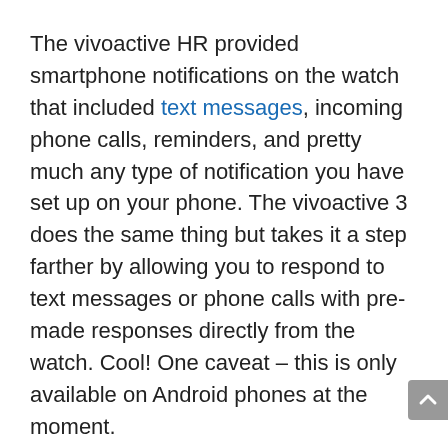The vivoactive HR provided smartphone notifications on the watch that included text messages, incoming phone calls, reminders, and pretty much any type of notification you have set up on your phone. The vivoactive 3 does the same thing but takes it a step farther by allowing you to respond to text messages or phone calls with pre-made responses directly from the watch. Cool! One caveat – this is only available on Android phones at the moment.
PRICE
Ok, so nobody likes this part of it, but the price increased by $50. Instead of the $250 vivoactive